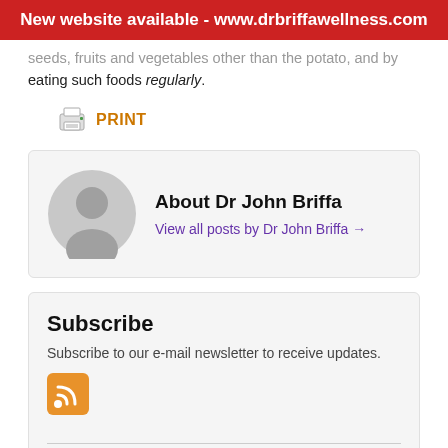New website available - www.drbriffawellness.com
seeds, fruits and vegetables other than the potato, and by eating such foods regularly.
PRINT
[Figure (other): Author profile card with avatar silhouette, name 'About Dr John Briffa', and link 'View all posts by Dr John Briffa →']
Subscribe
Subscribe to our e-mail newsletter to receive updates.
[Figure (other): RSS feed icon - orange square with wifi-style signal lines]
Related Posts:
Can getting more sun help protect against dementia?